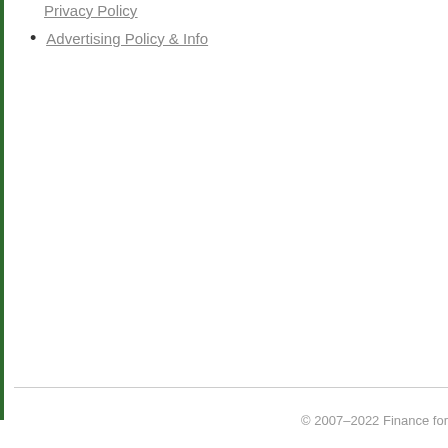Privacy Policy
Advertising Policy & Info
© 2007–2022 Finance for